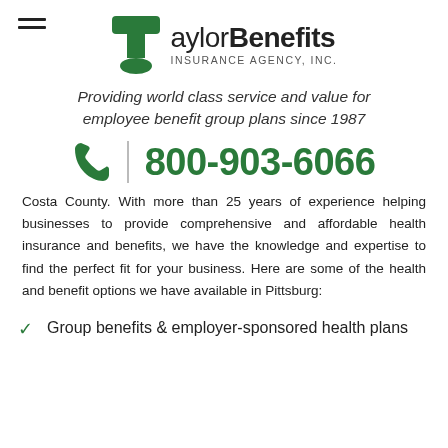[Figure (logo): Taylor Benefits Insurance Agency, Inc. logo with green T icon and company name]
Providing world class service and value for employee benefit group plans since 1987
800-903-6066
Costa County. With more than 25 years of experience helping businesses to provide comprehensive and affordable health insurance and benefits, we have the knowledge and expertise to find the perfect fit for your business. Here are some of the health and benefit options we have available in Pittsburg:
Group benefits & employer-sponsored health plans